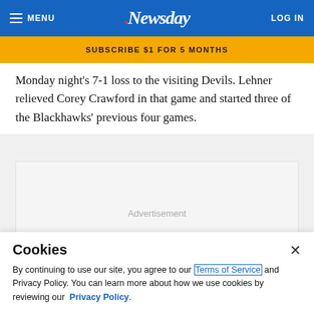MENU | Newsday | LOG IN
SUBSCRIBE $1 FOR 5 MONTHS
Monday night’s 7-1 loss to the visiting Devils. Lehner relieved Corey Crawford in that game and started three of the Blackhawks’ previous four games.
[Figure (other): Advertisement placeholder box]
Cookies
By continuing to use our site, you agree to our Terms of Service and Privacy Policy. You can learn more about how we use cookies by reviewing our Privacy Policy.